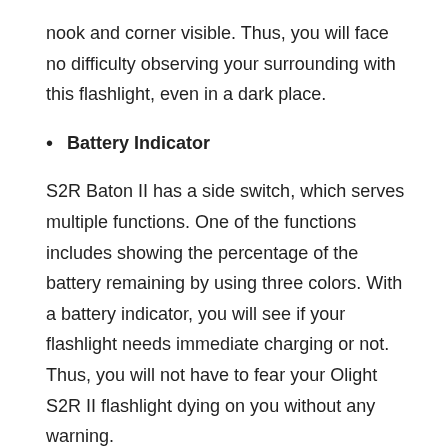nook and corner visible. Thus, you will face no difficulty observing your surrounding with this flashlight, even in a dark place.
Battery Indicator
S2R Baton II has a side switch, which serves multiple functions. One of the functions includes showing the percentage of the battery remaining by using three colors. With a battery indicator, you will see if your flashlight needs immediate charging or not. Thus, you will not have to fear your Olight S2R II flashlight dying on you without any warning.
Faster Charging Cable
In the box of the flashlight, there is an MCC 1A charging